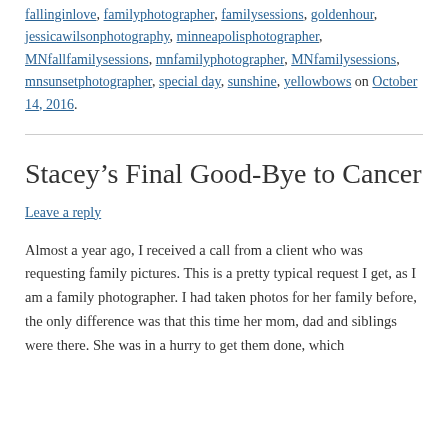fallinginlove, familyphotographer, familysessions, goldenhour, jessicawilsonphotography, minneapolisphotographer, MNfallfamilysessions, mnfamilyphotographer, MNfamilysessions, mnsunsetphotographer, special day, sunshine, yellowbows on October 14, 2016.
Stacey's Final Good-Bye to Cancer
Leave a reply
Almost a year ago, I received a call from a client who was requesting family pictures. This is a pretty typical request I get, as I am a family photographer. I had taken photos for her family before, the only difference was that this time her mom, dad and siblings were there. She was in a hurry to get them done, which